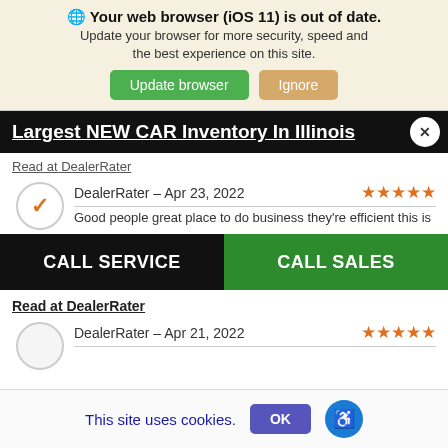Your web browser (iOS 11) is out of date. Update your browser for more security, speed and the best experience on this site.
Update browser | Ignore
Largest NEW CAR Inventory In Illinois
Read at DealerRater
DealerRater – Apr 23, 2022 ★★★★★
Good people great place to do business they're efficient this is
CALL SERVICE | CALL SALES
Read at DealerRater
DealerRater – Apr 21, 2022 ★★★★★
This site uses cookies.